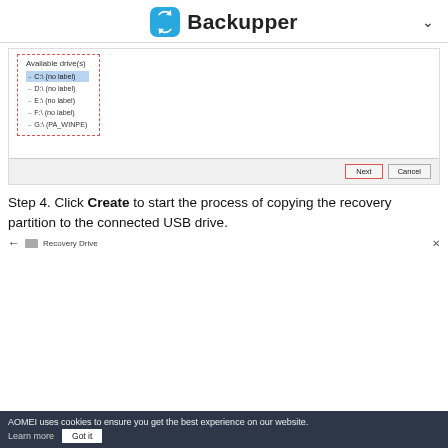Backupper
[Figure (screenshot): A software dialog showing Available drive(s) with C:\ (no label) selected in blue, followed by D:\, E:\, F:\ (no label), G:\ (PA_WINPE), all inside a dashed red border. A button bar at the bottom shows Next (highlighted with red border) and Cancel buttons.]
Step 4. Click Create to start the process of copying the recovery partition to the connected USB drive.
[Figure (screenshot): A partial Windows Recovery Drive dialog showing a back arrow and 'Recovery Drive' label, with an X close button.]
AOMEI uses cookies to ensure you get the best experience on our website. Learn more  Got it